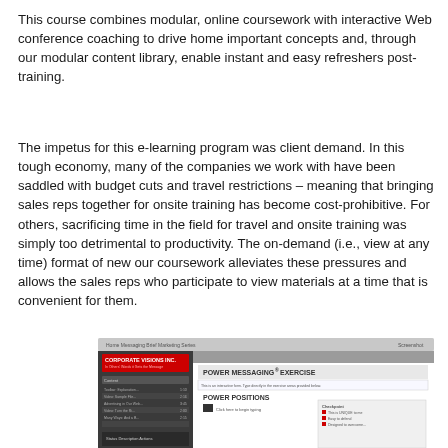This course combines modular, online coursework with interactive Web conference coaching to drive home important concepts and, through our modular content library, enable instant and easy refreshers post-training.
The impetus for this e-learning program was client demand. In this tough economy, many of the companies we work with have been saddled with budget cuts and travel restrictions – meaning that bringing sales reps together for onsite training has become cost-prohibitive. For others, sacrificing time in the field for travel and onsite training was simply too detrimental to productivity. The on-demand (i.e., view at any time) format of new our coursework alleviates these pressures and allows the sales reps who participate to view materials at a time that is convenient for them.
[Figure (screenshot): Screenshot of an e-learning interface showing 'Corporate Visions Inc.' branding on the left panel with a course menu, and a 'Power Messaging Exercise' panel on the right with a 'Power Positions' section containing interactive fields and checkboxes.]